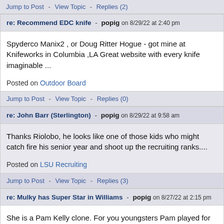Jump to Post  -  View Topic  -  Replies (2)
re: Recommend EDC knife - popig on 8/29/22 at 2:40 pm
Spyderco Manix2 , or Doug Ritter Hogue - got mine at Knifeworks in Columbia ,LA Great website with every knife imaginable ...
Posted on Outdoor Board
Jump to Post  -  View Topic  -  Replies (0)
re: John Barr (Sterlington) - popig on 8/29/22 at 9:58 am
Thanks Riolobo, he looks like one of those kids who might catch fire his senior year and shoot up the recruiting ranks....
Posted on LSU Recruiting
Jump to Post  -  View Topic  -  Replies (3)
re: Mulky has Super Star in Williams - popig on 8/27/22 at 2:15 pm
She is a Pam Kelly clone. For you youngsters Pam played for